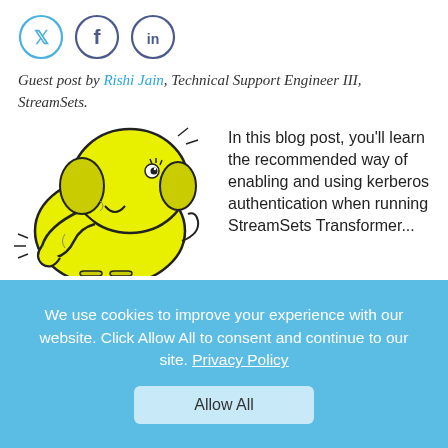[Figure (illustration): Three social media icon circles: Twitter bird icon (blue), Facebook 'f' icon (dark blue), LinkedIn 'in' icon (dark blue)]
Guest post by Rishi Jain, Technical Support Engineer III, StreamSets.
[Figure (illustration): Yellow cartoon Hadoop elephant mascot (Hortonworks/Apache Hadoop logo style), cheerful pose]
In this blog post, you'll learn the recommended way of enabling and using kerberos authentication when running StreamSets Transformer...
We use cookies to improve your experience with our website. Click Allow All to consent and continue to our site. Privacy Policy
Allow All